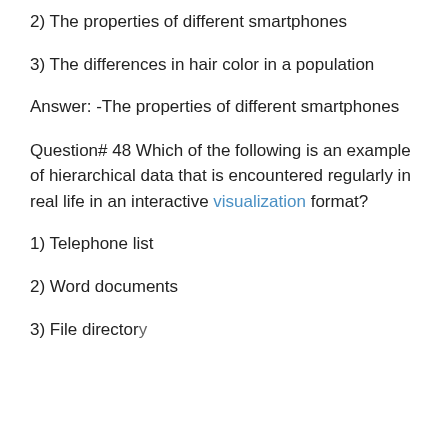2) The properties of different smartphones
3) The differences in hair color in a population
Answer: -The properties of different smartphones
Question# 48 Which of the following is an example of hierarchical data that is encountered regularly in real life in an interactive visualization format?
1) Telephone list
2) Word documents
3) File directory